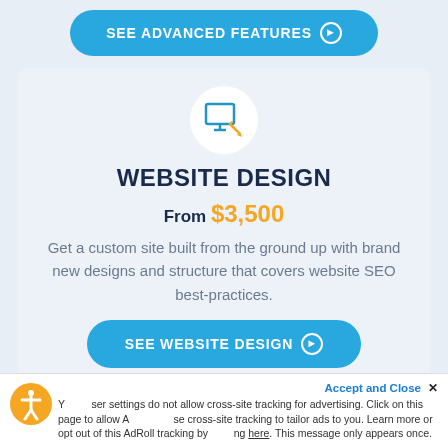[Figure (other): Blue pill-shaped button with text SEE ADVANCED FEATURES and a circled arrow icon]
[Figure (illustration): White circle containing a blue monitor/screen with pencil icon representing website design]
WEBSITE DESIGN
From $3,500
Get a custom site built from the ground up with brand new designs and structure that covers website SEO best-practices.
[Figure (other): Blue pill-shaped button with text SEE WEBSITE DESIGN and a circled arrow icon]
Accept and Close ✕
Your browser settings do not allow cross-site tracking for advertising. Click on this page to allow AdRoll to use cross-site tracking to tailor ads to you. Learn more or opt out of this AdRoll tracking by clicking here. This message only appears once.